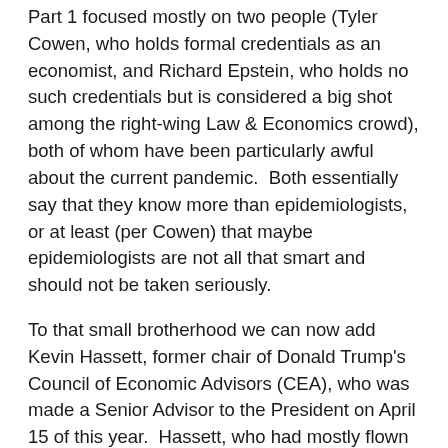Part 1 focused mostly on two people (Tyler Cowen, who holds formal credentials as an economist, and Richard Epstein, who holds no such credentials but is considered a big shot among the right-wing Law & Economics crowd), both of whom have been particularly awful about the current pandemic.  Both essentially say that they know more than epidemiologists, or at least (per Cowen) that maybe epidemiologists are not all that smart and should not be taken seriously.
To that small brotherhood we can now add Kevin Hassett, former chair of Donald Trump's Council of Economic Advisors (CEA), who was made a Senior Advisor to the President on April 15 of this year.  Hassett, who had mostly flown under the radar even when he was at CEA, has had his moment in the spotlight recently, making particularly galling comments about the COVID-19 catastrophe.  It is worth thinking about what Hassett has done, and why.
As it happens, Hassett and I crossed paths years ago on the collegiate parliamentary debate circuit, which is unsurprising in that large numbers of veterans of that circuit have moved